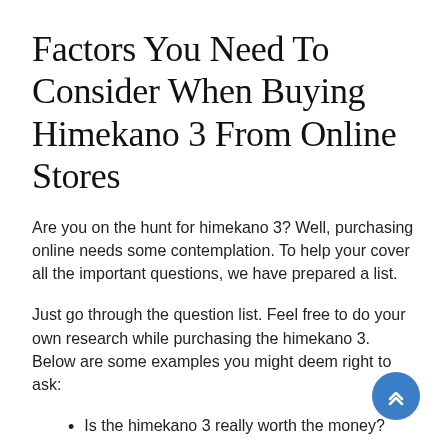Factors You Need To Consider When Buying Himekano 3 From Online Stores
Are you on the hunt for himekano 3? Well, purchasing online needs some contemplation. To help your cover all the important questions, we have prepared a list.
Just go through the question list. Feel free to do your own research while purchasing the himekano 3. Below are some examples you might deem right to ask:
Is the himekano 3 really worth the money?